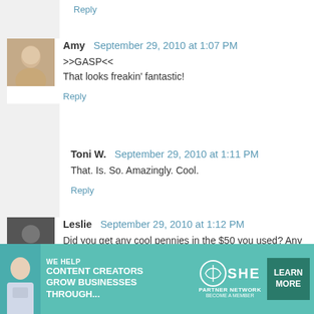Reply
Amy  September 29, 2010 at 1:07 PM
>>GASP<<
That looks freakin' fantastic!
Reply
Toni W.  September 29, 2010 at 1:11 PM
That. Is. So. Amazingly. Cool.
Reply
Leslie  September 29, 2010 at 1:12 PM
Did you get any cool pennies in the $50 you used? Any whe
Reply
Anonymous  September 29, 2010 at 1:19 PM
You are amazing!!!!
[Figure (infographic): Advertisement banner for SHE Partner Network showing a woman with laptop, text 'We help content creators grow businesses through...' and a Learn More button]